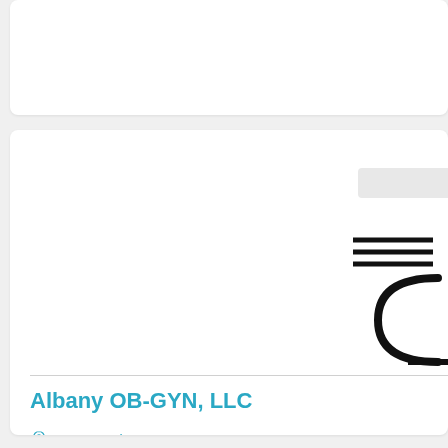Albany OB-GYN, LLC
1001 North Monroe Street, Albany, GA 31701
(229) 436-7248